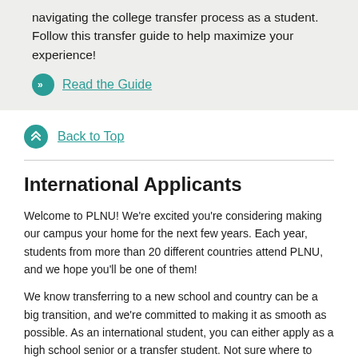navigating the college transfer process as a student. Follow this transfer guide to help maximize your experience!
Read the Guide
Back to Top
International Applicants
Welcome to PLNU! We're excited you're considering making our campus your home for the next few years. Each year, students from more than 20 different countries attend PLNU, and we hope you'll be one of them!
We know transferring to a new school and country can be a big transition, and we're committed to making it as smooth as possible. As an international student, you can either apply as a high school senior or a transfer student. Not sure where to begin? Don't worry — we're here to answer your questions and